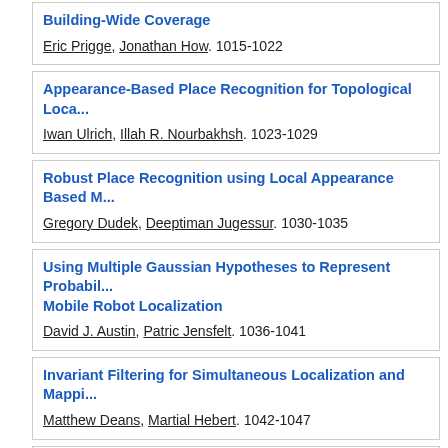An Indoor Absolute Positioning System with No Line of Sight Restrictions and Building-Wide Coverage
Eric Prigge, Jonathan How. 1015-1022
Appearance-Based Place Recognition for Topological Localization
Iwan Ulrich, Illah R. Nourbakhsh. 1023-1029
Robust Place Recognition using Local Appearance Based Maps
Gregory Dudek, Deeptiman Jugessur. 1030-1035
Using Multiple Gaussian Hypotheses to Represent Probability Distributions for Mobile Robot Localization
David J. Austin, Patric Jensfelt. 1036-1041
Invariant Filtering for Simultaneous Localization and Mapping
Matthew Deans, Martial Hebert. 1042-1047
Intelligent Soft Contact Surface Technology with MEMS in Robotic Augmented Systems